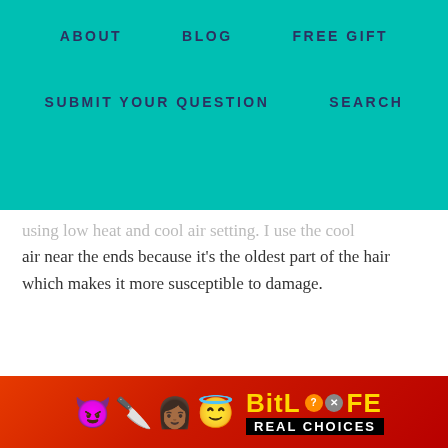ABOUT   BLOG   FREE GIFT   SUBMIT YOUR QUESTION   SEARCH
using low heat and cool air setting. I use the cool air near the ends because it's the oldest part of the hair which makes it more susceptible to damage.
[Figure (screenshot): Advertisement banner for BitLife game featuring emoji characters (devil, woman, angel, sperm) on a red background with 'BitLife REAL CHOICES' text in yellow and white]